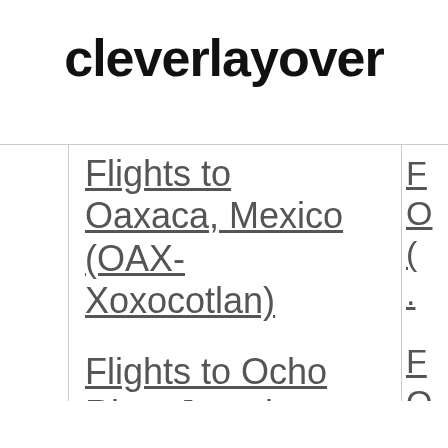cleverlayover
Flights to Oaxaca, Mexico (OAX-Xoxocotlan)
Flights to Ocho Rios, Jamaica